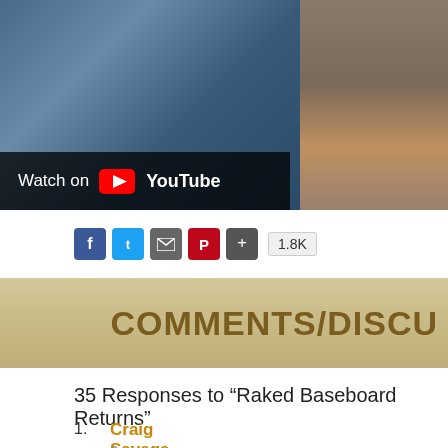[Figure (screenshot): Video thumbnail showing jeans and woodworking, with YouTube 'Watch on YouTube' overlay bar]
[Figure (other): Social sharing buttons: Facebook, Twitter, Email, Pinterest, Plus button, and share count 1.8K]
COMMENTS/DISCU
35 Responses to “Raked Baseboard Returns”
Craig Savage
September 10, 2010
Extraordinary article, graphics and video presentation.